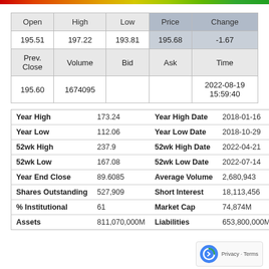[Figure (other): Color gradient bar from red to green at top of page]
| Open | High | Low | Price | Change |
| --- | --- | --- | --- | --- |
| 195.51 | 197.22 | 193.81 | 195.68 | -1.67 |
| Prev. Close | Volume | Bid | Ask | Time |
| 195.60 | 1674095 |  |  | 2022-08-19 15:59:40 |
| Year High | 173.24 | Year High Date | 2018-01-16 |
| Year Low | 112.06 | Year Low Date | 2018-10-29 |
| 52wk High | 237.9 | 52wk High Date | 2022-04-21 |
| 52wk Low | 167.08 | 52wk Low Date | 2022-07-14 |
| Year End Close | 89.6085 | Average Volume | 2,680,943 |
| Shares Outstanding | 527,909 | Short Interest | 18,113,456 |
| % Institutional | 61 | Market Cap | 74,874M |
| Assets | 811,070,000M | Liabilities | 653,800,000M |